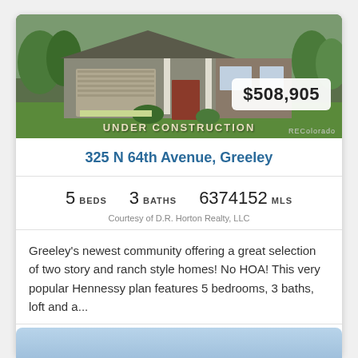[Figure (photo): Exterior photo of a single-story house under construction with stone and siding facade, garage, and landscaping. Overlaid with 'UNDER CONSTRUCTION' text and a $508,905 price badge.]
325 N 64th Avenue, Greeley
5 BEDS  3 BATHS  6374152 MLS
Courtesy of D.R. Horton Realty, LLC
Greeley's newest community offering a great selection of two story and ranch style homes! No HOA! This very popular Hennessy plan features 5 bedrooms, 3 baths, loft and a...
[Figure (logo): RE/COLORADO logo with orange flame dot]
[Figure (photo): Partial view of second listing photo at bottom — blue sky visible]